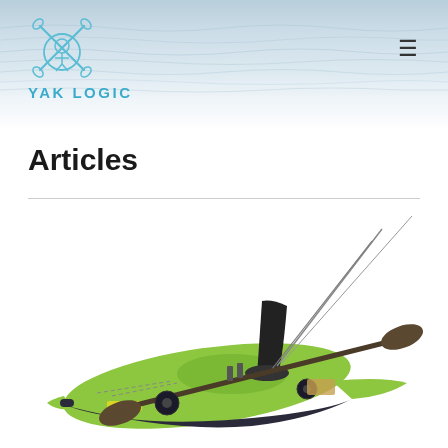YAK LOGIC
Articles
[Figure (photo): Green fishing kayak with black seat, paddle, fishing rod holders, and accessories, photographed on white background]